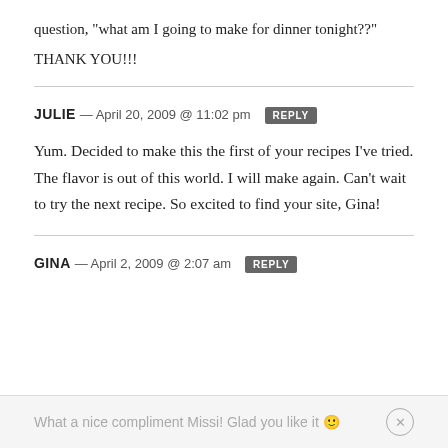question, "what am I going to make for dinner tonight??"
THANK YOU!!!
JULIE — April 20, 2009 @ 11:02 pm  REPLY
Yum. Decided to make this the first of your recipes I've tried. The flavor is out of this world. I will make again. Can't wait to try the next recipe. So excited to find your site, Gina!
GINA — April 2, 2009 @ 2:07 am  REPLY
What a nice compliment Missi! Glad you like it 🙂